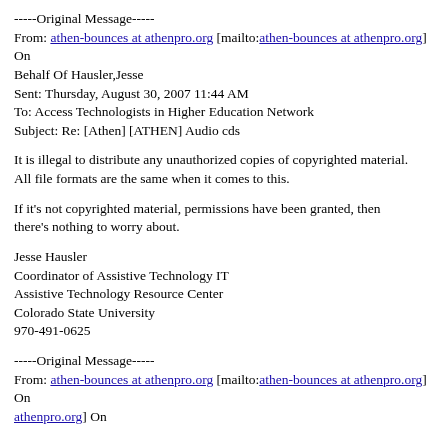-----Original Message-----
From: athen-bounces at athenpro.org [mailto:athen-bounces at athenpro.org] On
Behalf Of Hausler,Jesse
Sent: Thursday, August 30, 2007 11:44 AM
To: Access Technologists in Higher Education Network
Subject: Re: [Athen] [ATHEN] Audio cds
It is illegal to distribute any unauthorized copies of copyrighted material.
All file formats are the same when it comes to this.
If it's not copyrighted material, permissions have been granted, then
there's nothing to worry about.
Jesse Hausler
Coordinator of Assistive Technology IT
Assistive Technology Resource Center
Colorado State University
970-491-0625
-----Original Message-----
From: athen-bounces at athenpro.org [mailto:athen-bounces at athenpro.org] On